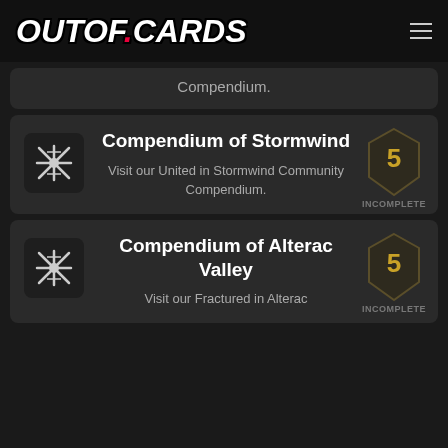OUTOF.CARDS
Compendium.
Compendium of Stormwind
Visit our United in Stormwind Community Compendium.
Compendium of Alterac Valley
Visit our Fractured in Alterac